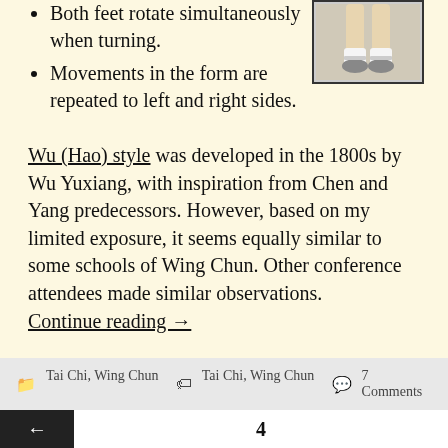Both feet rotate simultaneously when turning.
Movements in the form are repeated to left and right sides.
[Figure (photo): Photo of feet/legs in martial arts stance, showing footwear and lower legs]
Wu (Hao) style was developed in the 1800s by Wu Yuxiang, with inspiration from Chen and Yang predecessors. However, based on my limited exposure, it seems equally similar to some schools of Wing Chun. Other conference attendees made similar observations. Continue reading →
📁 Tai Chi, Wing Chun  🏷 Tai Chi, Wing Chun  💬 7 Comments
← 4